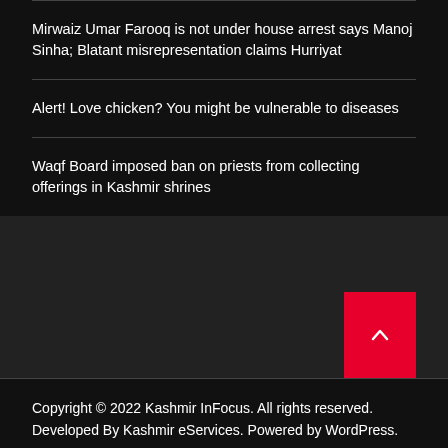Mirwaiz Umar Farooq is not under house arrest says Manoj Sinha; Blatant misrepresentation claims Hurriyat
Alert! Love chicken? You might be vulnerable to diseases
Waqf Board imposed ban on priests from collecting offerings in Kashmir shrines
[Figure (other): Dark grey background section with a red scroll-to-top button in the bottom right corner containing an upward-pointing chevron arrow]
Copyright © 2022 Kashmir InFocus. All rights reserved. Developed By Kashmir eServices. Powered by WordPress.